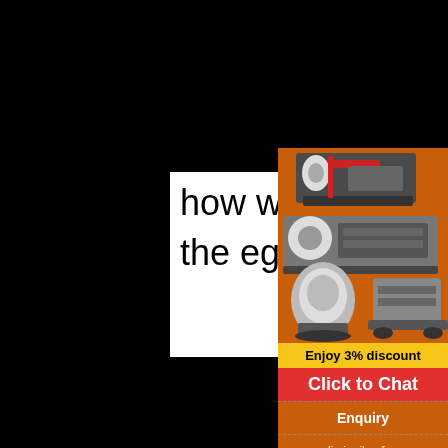how was iron ore used b the egyptians
[Figure (illustration): Industrial mining/crushing machines shown on orange background]
Enjoy 3% discount
Click to Chat
Enquiry
limingjlmofen@sina.com